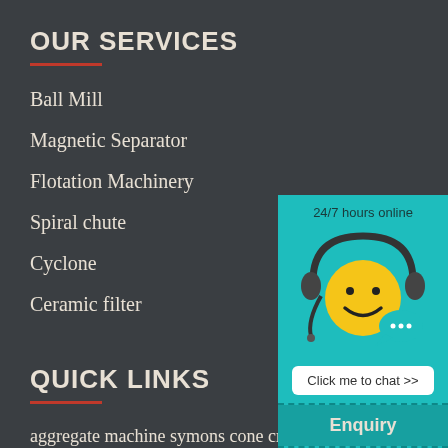OUR SERVICES
Ball Mill
Magnetic Separator
Flotation Machinery
Spiral chute
Cyclone
Ceramic filter
[Figure (illustration): Customer service mascot: yellow smiley face with headset, chat bubble, with '24/7 hours online' text above and 'Click me to chat >>' button below]
QUICK LINKS
aggregate machine symons cone crusher
superbrian707@gma